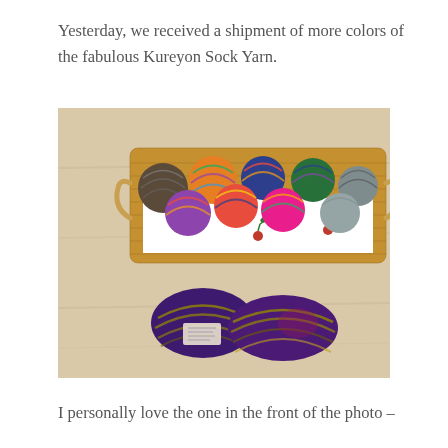Yesterday, we received a shipment of more colors of the fabulous Kureyon Sock Yarn.
[Figure (photo): A wicker basket lined with white fabric decorated with small red cherries and green leaves, filled with multiple colorful balls of yarn in vibrant multicolored patterns (greens, blues, purples, reds, oranges). In front of the basket on a light wood surface sit two skeins of purple and gold variegated yarn with a paper label.]
I personally love the one in the front of the photo –